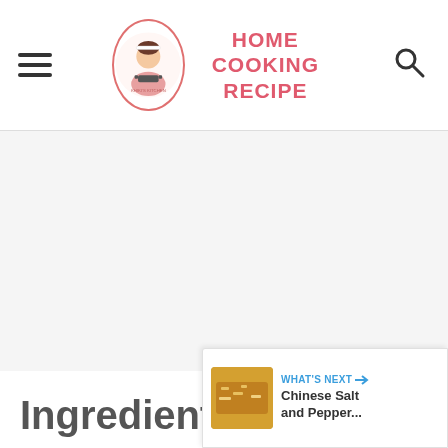HOME COOKING RECIPE
[Figure (photo): Large food/recipe photo placeholder area (light gray background)]
Ingredients
WHAT'S NEXT → Chinese Salt and Pepper...